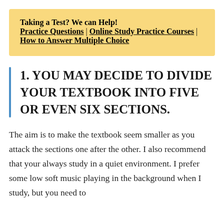Taking a Test? We can Help!
Practice Questions | Online Study Practice Courses | How to Answer Multiple Choice
1. YOU MAY DECIDE TO DIVIDE YOUR TEXTBOOK INTO FIVE OR EVEN SIX SECTIONS.
The aim is to make the textbook seem smaller as you attack the sections one after the other. I also recommend that your always study in a quiet environment. I prefer some low soft music playing in the background when I study, but you need to